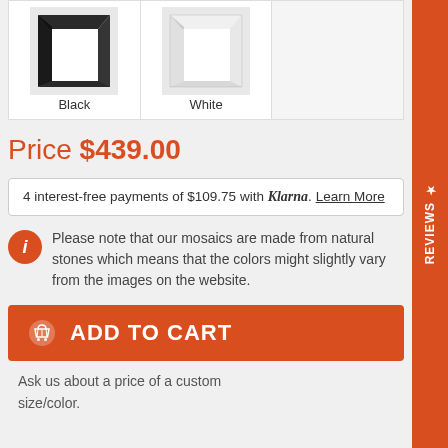[Figure (photo): Two picture frame corner samples: Black frame and White frame displayed side by side]
Black
White
Price $439.00
4 interest-free payments of $109.75 with Klarna. Learn More
Please note that our mosaics are made from natural stones which means that the colors might slightly vary from the images on the website.
ADD TO CART
Ask us about a price of a custom size/color.